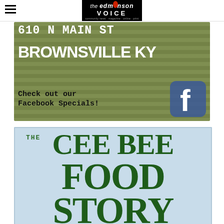The Edmonson Voice
[Figure (photo): Advertisement for a store at 610 N Main St, Brownsville KY with a wooden background showing large white bold text. Includes Facebook icon and text 'Check out our Facebook Specials!']
[Figure (illustration): Advertisement with light blue background showing 'THE CEE BEE FOOD STORY' in large dark green serif text, with 'THE' in small monospace font at top left]